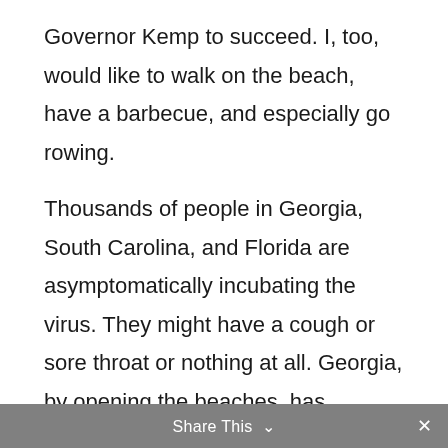Governor Kemp to succeed. I, too, would like to walk on the beach, have a barbecue, and especially go rowing.

Thousands of people in Georgia, South Carolina, and Florida are asymptomatically incubating the virus. They might have a cough or sore throat or nothing at all. Georgia, by opening the beaches, has created a destination for this army, many of whom have been cooped up for weeks. The beach will be
Share This ∨  ×